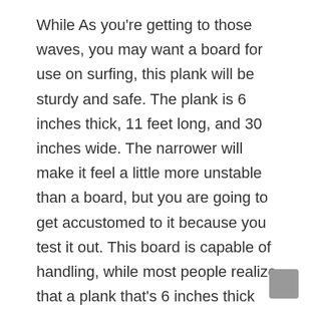While As you're getting to those waves, you may want a board for use on surfing, this plank will be sturdy and safe. The plank is 6 inches thick, 11 feet long, and 30 inches wide. The narrower will make it feel a little more unstable than a board, but you are going to get accustomed to it because you test it out. This board is capable of handling, while most people realize that a plank that's 6 inches thick isn't the most conducive to surf. When the conditions get just a little bit tricky, actually, that the thickness might help some equilibrium. Possessing a trouble may be worth the excess stability whenever you are trying to get through oceans.